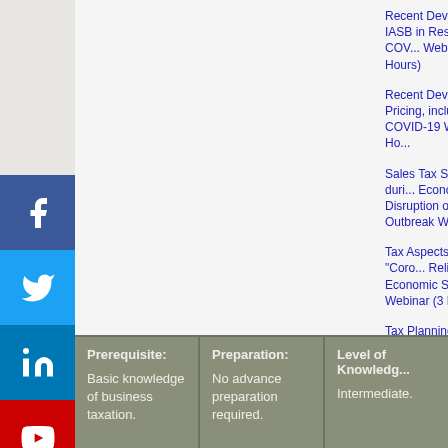Recent Developments at IASB in Response to COVID Webinar (1.5 Hours)
Recent Developments in Pricing, including the Impact of COVID-19 Webinar (1 Hour)
Sales Tax Strategies during Economic Disruption of the COVID-19 Outbreak Webinar (2 Hours)
Tax Aspects of the "Coronavirus Aid, Relief & Economic Security Act" Webinar (3 Hours)
Tax Planning for 2020/2021 and Beyond: Biden Agenda, PPP Loan Forgiveness & More (3-Hour Webinar)
| Prerequisite: | Preparation: | Level of Knowledge: |
| --- | --- | --- |
| Basic knowledge of business taxation. | No advance preparation required. | Intermediate. |